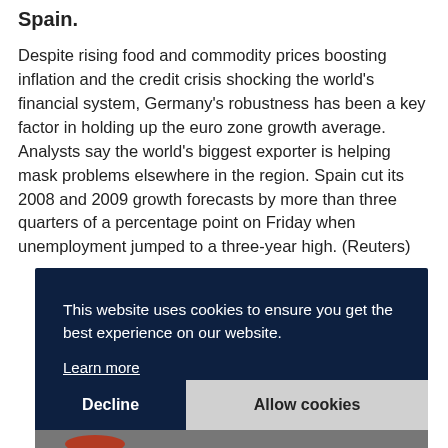Spain.
Despite rising food and commodity prices boosting inflation and the credit crisis shocking the world's financial system, Germany's robustness has been a key factor in holding up the euro zone growth average. Analysts say the world's biggest exporter is helping mask problems elsewhere in the region. Spain cut its 2008 and 2009 growth forecasts by more than three quarters of a percentage point on Friday when unemployment jumped to a three-year high. (Reuters)
[Figure (screenshot): Cookie consent overlay on a dark navy background with text 'This website uses cookies to ensure you get the best experience on our website.' and a 'Learn more' link, with 'Decline' and 'Allow cookies' buttons at the bottom.]